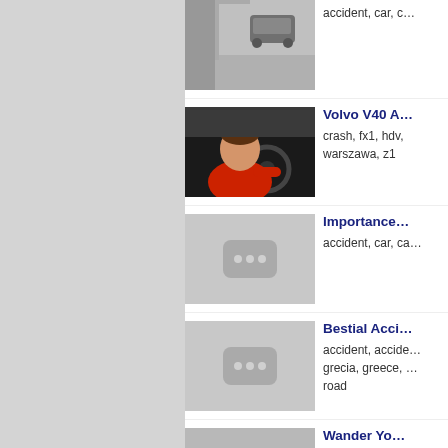[Figure (screenshot): Video thumbnail: grayscale street scene with car, surveillance camera style]
accident, car, c…
[Figure (screenshot): Video thumbnail: person in red shirt inside a car, Volvo V40 related video]
Volvo V40 A…
crash, fx1, hdv, warszawa, z1
[Figure (screenshot): Video placeholder thumbnail with three dots icon]
Importance…
accident, car, ca…
[Figure (screenshot): Video placeholder thumbnail with three dots icon]
Bestial Acci…
accident, accide…
grecia, greece, …
road
[Figure (screenshot): Partial video thumbnail at bottom of page]